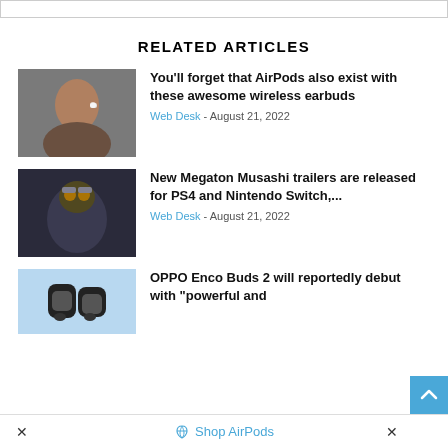[Figure (screenshot): Top bar / partial UI element at top of page]
RELATED ARTICLES
[Figure (photo): Man with wireless earbud in ear]
You'll forget that AirPods also exist with these awesome wireless earbuds
Web Desk - August 21, 2022
[Figure (photo): Megaton Musashi game character robot]
New Megaton Musashi trailers are released for PS4 and Nintendo Switch,...
Web Desk - August 21, 2022
[Figure (photo): OPPO Enco Buds 2 earbuds product image]
OPPO Enco Buds 2 will reportedly debut with "powerful and
Shop AirPods